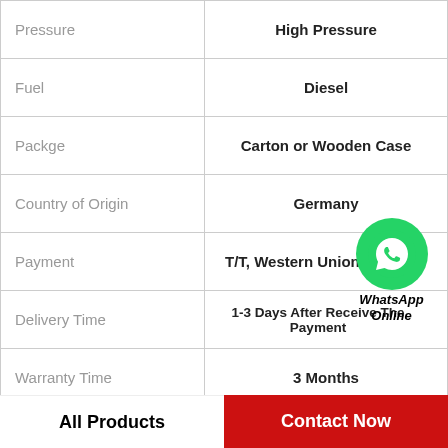| Property | Value |
| --- | --- |
| Pressure | High Pressure |
| Fuel | Diesel |
| Packge | Carton or Wooden Case |
| Country of Origin | Germany |
| Payment | T/T, Western Union, Pa... |
| Delivery Time | 1-3 Days After Receive The Payment |
| Warranty Time | 3 Months |
| Transportation Way | by Sea, by Air, DHL, FedEx |
| Trademark | Hanli |
[Figure (logo): WhatsApp Online button with green circle icon and text]
All Products    Contact Now